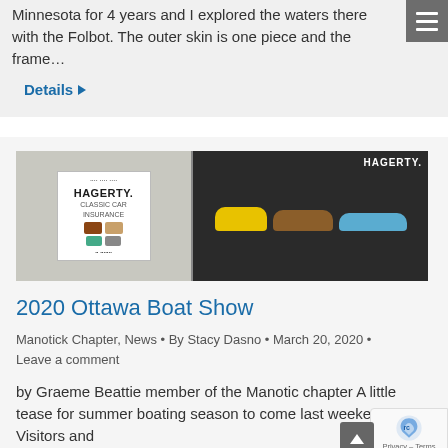Minnesota for 4years and I explored the waters there with the Folbot. The outer skin is one piece and the frame…
Details ▶
[Figure (photo): Two-panel photo: left panel shows a Hagerty insurance booth/sign display at an indoor boat show; right panel shows several wooden canoes and kayaks on display including yellow, brown, and blue boats with Hagerty branding on dark background.]
2020 Ottawa Boat Show
Manotick Chapter, News • By Stacy Dasno • March 20, 2020 • Leave a comment
by Graeme Beattie member of the Manotic chapter A little tease for summer boating season to come last weekend? Visitors and